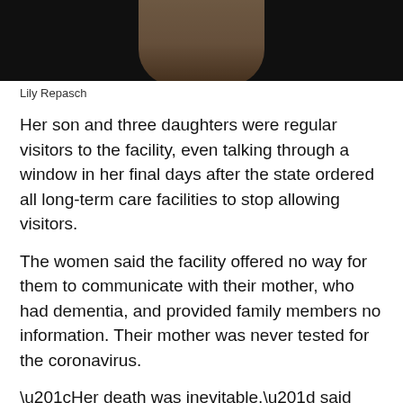[Figure (photo): Partial photo of a person, showing hands/skin against a dark background, cropped at top of page]
Lily Repasch
Her son and three daughters were regular visitors to the facility, even talking through a window in her final days after the state ordered all long-term care facilities to stop allowing visitors.
The women said the facility offered no way for them to communicate with their mother, who had dementia, and provided family members no information. Their mother was never tested for the coronavirus.
“Her death was inevitable,” said one daughter, Lee Repasch. “But she was a vulnerable woman with [le, but it didn’t need to be
[Figure (screenshot): Translate button bar with US flag emoji and dropdown chevron, teal/cyan background]